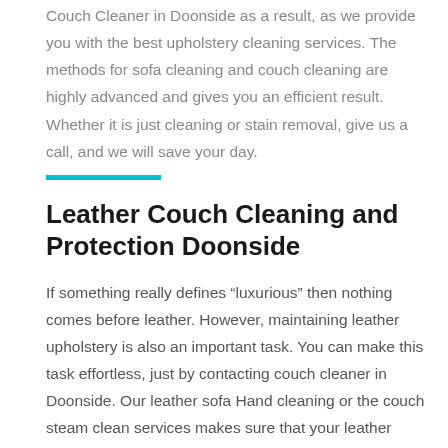Couch Cleaner in Doonside as a result, as we provide you with the best upholstery cleaning services. The methods for sofa cleaning and couch cleaning are highly advanced and gives you an efficient result. Whether it is just cleaning or stain removal, give us a call, and we will save your day.
Leather Couch Cleaning and Protection Doonside
If something really defines “luxurious” then nothing comes before leather. However, maintaining leather upholstery is also an important task. You can make this task effortless, just by contacting couch cleaner in Doonside. Our leather sofa Hand cleaning or the couch steam clean services makes sure that your leather upholstery is well cleaned and free of stain. Our skilled workers will help